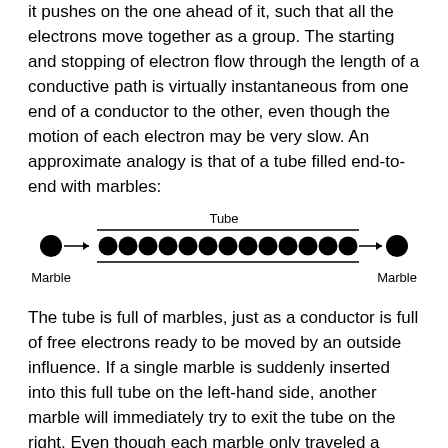it pushes on the one ahead of it, such that all the electrons move together as a group. The starting and stopping of electron flow through the length of a conductive path is virtually instantaneous from one end of a conductor to the other, even though the motion of each electron may be very slow. An approximate analogy is that of a tube filled end-to-end with marbles:
[Figure (illustration): Diagram showing a tube filled with marbles. A single marble on the left has an arrow pointing right into the tube. The tube labeled 'Tube' contains a row of filled black circles (marbles). An arrow exits the right end of the tube pointing to another marble. 'Marble' is labeled below the left marble and below the right marble.]
The tube is full of marbles, just as a conductor is full of free electrons ready to be moved by an outside influence. If a single marble is suddenly inserted into this full tube on the left-hand side, another marble will immediately try to exit the tube on the right. Even though each marble only traveled a short distance, the transfer of motion through the tube is virtually instantaneous from the left end to the right end, no